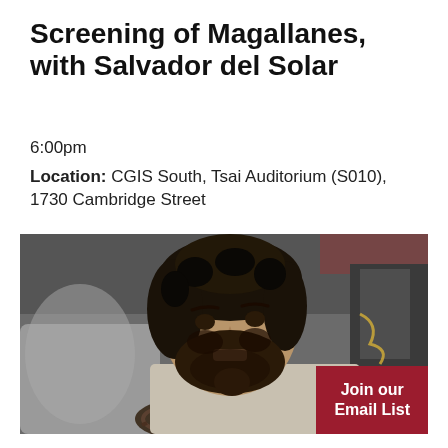Screening of Magallanes, with Salvador del Solar
6:00pm
Location: CGIS South, Tsai Auditorium (S010), 1730 Cambridge Street
[Figure (photo): A bearded man sitting in a car gripping a steering wheel, looking intensely at the camera. The interior of the car is visible with grey upholstered seats.]
Join our Email List